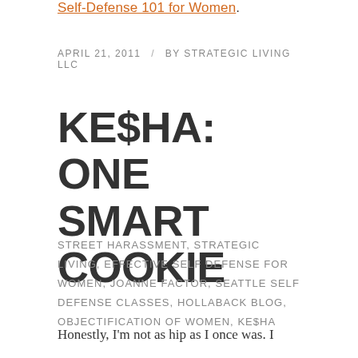Self-Defense 101 for Women.
APRIL 21, 2011 / BY STRATEGIC LIVING LLC
KE$HA: ONE SMART COOKIE
STREET HARASSMENT, STRATEGIC LIVING, EFFECTIVE SELF DEFENSE FOR WOMEN, JOANNE FACTOR, SEATTLE SELF DEFENSE CLASSES, HOLLABACK BLOG, OBJECTIFICATION OF WOMEN, KE$HA
Honestly, I'm not as hip as I once was. I